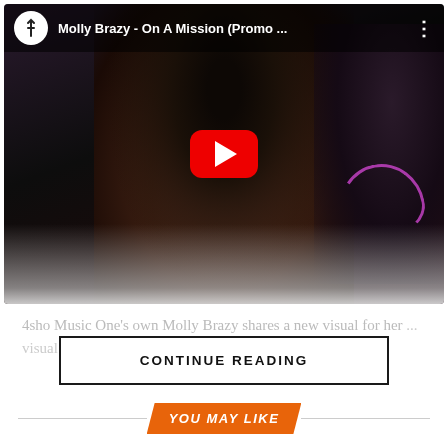[Figure (screenshot): YouTube video thumbnail for 'Molly Brazy - On A Mission (Promo ...' showing a young Black woman with long dark wavy hair as the main subject, and another person in the background wearing a shirt with a pink/magenta logo. A red YouTube play button is centered on the image. The video player has a top bar with a channel icon (white circle with a cross/thorn symbol), the video title, and a three-dot menu icon.]
4sho Music One's own Molly Brazy shares a new visual for her ... visual
CONTINUE READING
YOU MAY LIKE